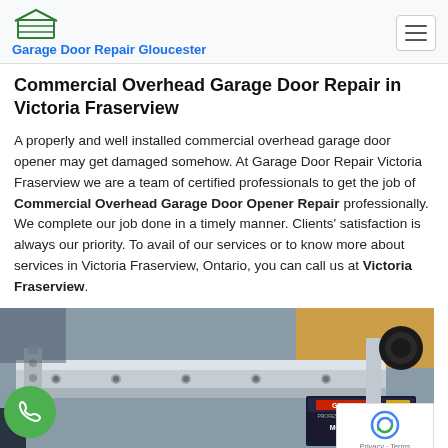Garage Door Repair Gloucester
Commercial Overhead Garage Door Repair in Victoria Fraserview
A properly and well installed commercial overhead garage door opener may get damaged somehow. At Garage Door Repair Victoria Fraserview we are a team of certified professionals to get the job of Commercial Overhead Garage Door Opener Repair professionally. We complete our job done in a timely manner. Clients' satisfaction is always our priority. To avail of our services or to know more about services in Victoria Fraserview, Ontario, you can call us at Victoria Fraserview.
[Figure (photo): Close-up photo of a commercial garage door opener mechanism, showing a Genie Professional Line Model 3120 unit with metal brackets and hardware. A green phone call button overlay appears in the lower left, and a reCAPTCHA badge in the lower right with Privacy · Terms text.]